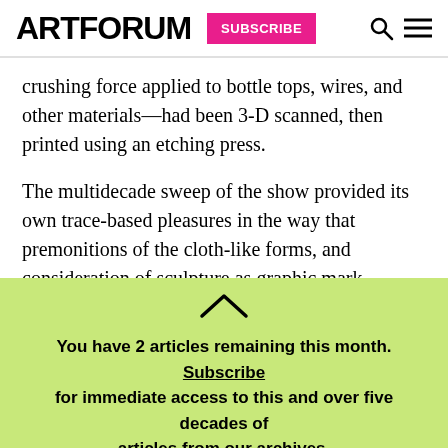ARTFORUM  SUBSCRIBE
crushing force applied to bottle tops, wires, and other materials—had been 3-D scanned, then printed using an etching press.
The multidecade sweep of the show provided its own trace-based pleasures in the way that premonitions of the cloth-like forms, and consideration of sculpture as graphic mark-making, already appear as faint impressions in early blowtorched-and-carved
You have 2 articles remaining this month. Subscribe for immediate access to this and over five decades of articles from our archives.